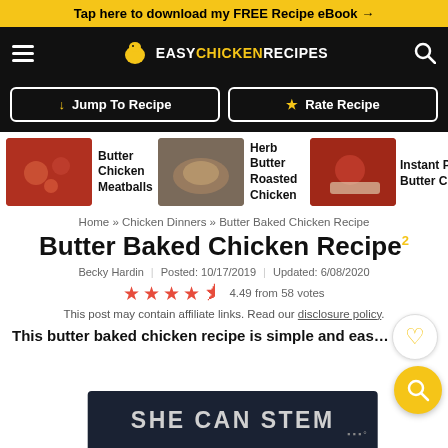Tap here to download my FREE Recipe eBook →
[Figure (logo): Easy Chicken Recipes navigation bar with hamburger menu, chicken logo, brand name, and search icon]
↓ Jump To Recipe
★ Rate Recipe
[Figure (photo): Butter Chicken Meatballs food photo thumbnail]
Butter Chicken Meatballs
[Figure (photo): Herb Butter Roasted Chicken food photo thumbnail]
Herb Butter Roasted Chicken
[Figure (photo): Instant Pot Butter Chicken food photo thumbnail]
Instant Pot Butter Chic…
Home » Chicken Dinners » Butter Baked Chicken Recipe
Butter Baked Chicken Recipe
Becky Hardin | Posted: 10/17/2019 | Updated: 6/08/2020
4.49 from 58 votes
This post may contain affiliate links. Read our disclosure policy.
This butter baked chicken recipe is simple and easy… or. It's
[Figure (screenshot): SHE CAN STEM advertisement overlay banner]